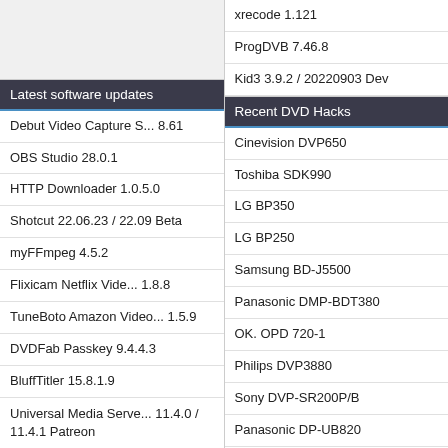xrecode 1.121
ProgDVB 7.46.8
Kid3 3.9.2 / 20220903 Dev
Latest software updates
Recent DVD Hacks
Debut Video Capture S... 8.61
Cinevision DVP650
OBS Studio 28.0.1
Toshiba SDK990
HTTP Downloader 1.0.5.0
LG BP350
Shotcut 22.06.23 / 22.09 Beta
LG BP250
myFFmpeg 4.5.2
Samsung BD-J5500
Flixicam Netflix Vide... 1.8.8
Panasonic DMP-BDT380
TuneBoto Amazon Video... 1.5.9
OK. OPD 720-1
DVDFab Passkey 9.4.4.3
Philips DVP3880
BluffTitler 15.8.1.9
Sony DVP-SR200P/B
Universal Media Serve... 11.4.0 / 11.4.1 Patreon
Panasonic DP-UB820
Policy  About  Advertise  For
Affiliates: free-codecs.com
©1999-2022 videohelp.com